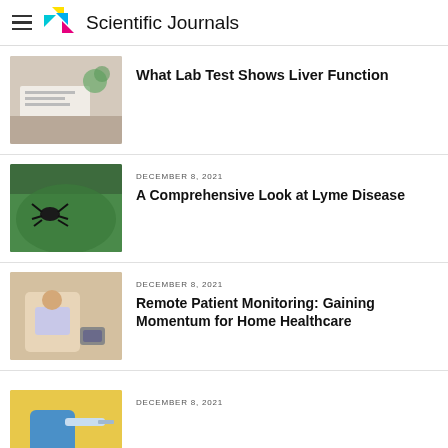Scientific Journals
What Lab Test Shows Liver Function
DECEMBER 8, 2021
A Comprehensive Look at Lyme Disease
DECEMBER 8, 2021
Remote Patient Monitoring: Gaining Momentum for Home Healthcare
DECEMBER 8, 2021